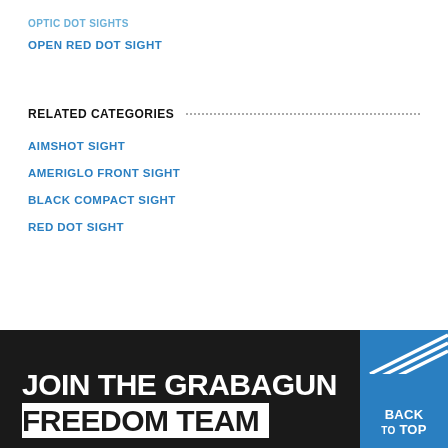OPTIC DOT SIGHTS
OPEN RED DOT SIGHT
RELATED CATEGORIES
AIMSHOT SIGHT
AMERIGLO FRONT SIGHT
BLACK COMPACT SIGHT
RED DOT SIGHT
JOIN THE GRABAGUN FREEDOM TEAM
BACK TO TOP